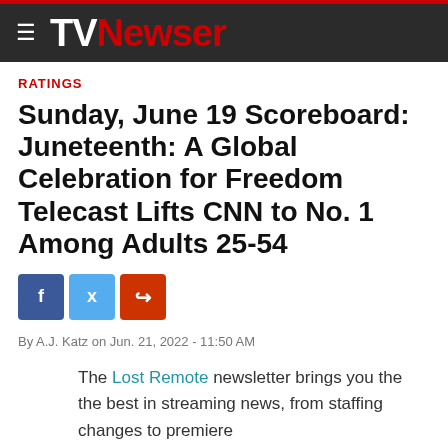TV Newser
RATINGS
Sunday, June 19 Scoreboard: Juneteenth: A Global Celebration for Freedom Telecast Lifts CNN to No. 1 Among Adults 25-54
By A.J. Katz on Jun. 21, 2022 - 11:50 AM
The Lost Remote newsletter brings you the the best in streaming news, from staffing changes to premiere